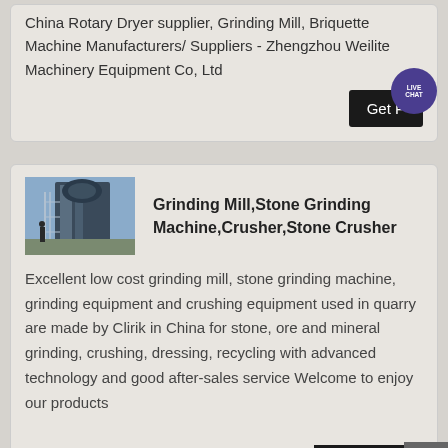China Rotary Dryer supplier, Grinding Mill, Briquette Machine Manufacturers/ Suppliers - Zhengzhou Weilite Machinery Equipment Co, Ltd
[Figure (screenshot): Dark button with text 'Get P' (Get Price) and a purple circular live chat bubble with 'LIVE CHAT' text]
[Figure (photo): Photo of industrial grinding mill equipment - large machinery with scaffolding in blue/grey tones]
Grinding Mill,Stone Grinding Machine,Crusher,Stone Crusher
Excellent low cost grinding mill, stone grinding machine, grinding equipment and crushing equipment used in quarry are made by Clirik in China for stone, ore and mineral grinding, crushing, dressing, recycling with advanced technology and good after-sales service Welcome to enjoy our products
[Figure (screenshot): Dark button with text 'Get Price' and a grey scroll-to-top arrow button]